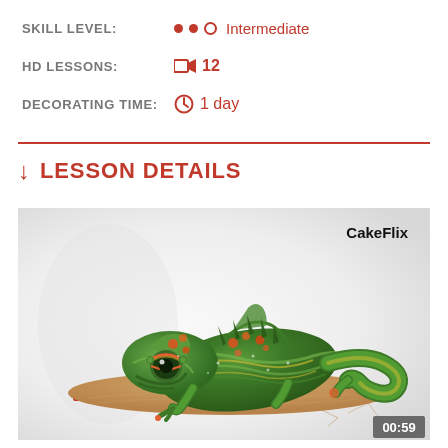SKILL LEVEL: ●●○ Intermediate
HD LESSONS: 🎥 12
DECORATING TIME: 🕐 1 day
↓ LESSON DETAILS
[Figure (photo): A detailed chameleon cake decorated with green, yellow, red and orange fondant scales, sitting on a sandy brown cake board with a red base edge. CakeFlix watermark in top right. Timestamp 00:59 in bottom right corner.]